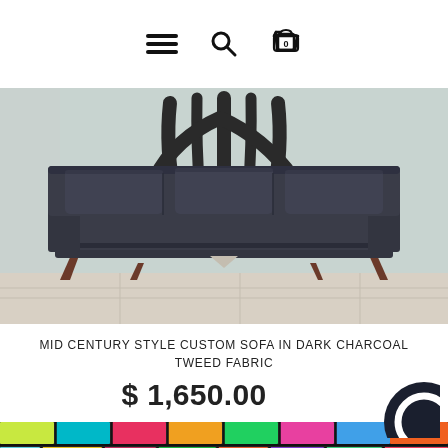Navigation bar with hamburger menu, search icon, and cart icon (0 items)
[Figure (photo): A mid-century modern dark charcoal tweed fabric sofa with wooden legs, photographed outdoors against a wall with a large graffiti mural. Three back cushions visible, long single seat cushion, walnut-stained tapered wooden base legs.]
MID CENTURY STYLE CUSTOM SOFA IN DARK CHARCOAL TWEED FABRIC
$ 1,650.00
[Figure (photo): Colorful graffiti brick wall strip at bottom of page with bright neon colors including green, yellow, teal, pink, red, orange.]